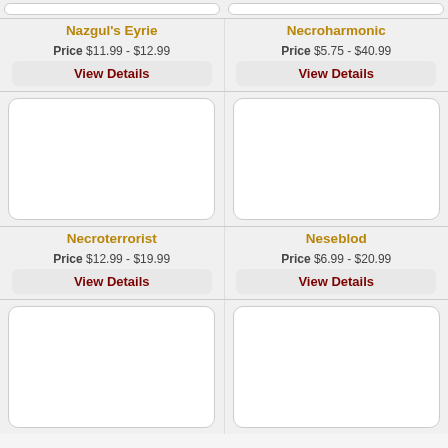Nazgul's Eyrie
Price $11.99 - $12.99
View Details
Necroharmonic
Price $5.75 - $40.99
View Details
[Figure (other): Product image placeholder box]
Necroterrorist
Price $12.99 - $19.99
View Details
[Figure (other): Product image placeholder box]
Neseblod
Price $6.99 - $20.99
View Details
[Figure (other): Product image placeholder box]
[Figure (other): Product image placeholder box]